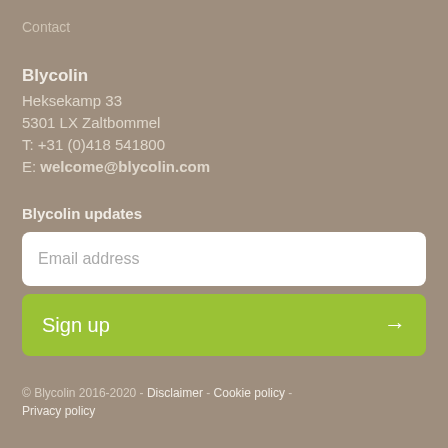Contact
Blycolin
Heksekamp 33
5301 LX Zaltbommel
T: +31 (0)418 541800
E: welcome@blycolin.com
Blycolin updates
Email address
Sign up →
© Blycolin 2016-2020 - Disclaimer - Cookie policy - Privacy policy